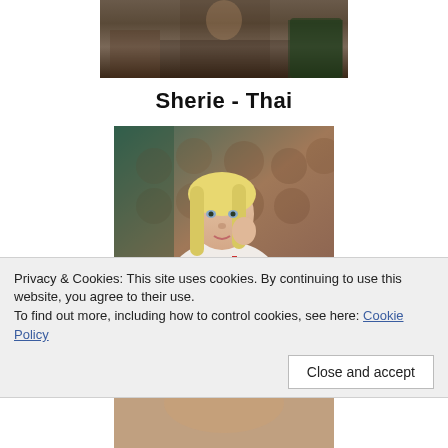[Figure (photo): Top portion of a photo showing a woman standing in an elegant room with a green leather chair and patterned rug, cropped at the waist]
Sherie - Thai
[Figure (photo): Portrait photo of a young blonde woman with shoulder-length hair wearing a white knit sweater, posed against a tufted brown background]
Privacy & Cookies: This site uses cookies. By continuing to use this website, you agree to their use.
To find out more, including how to control cookies, see here: Cookie Policy
Close and accept
[Figure (photo): Bottom portion of a photo, partially visible, showing the lower part of a person]